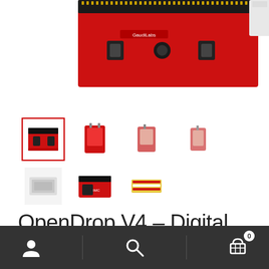[Figure (photo): Close-up top-down photo of red OpenDrop V4 digital microfluidics PCB board showing connector pins, GaudiLabs branding, and hardware components]
[Figure (photo): Row of product thumbnail images showing various views and components of the OpenDrop V4 digital microfluidics platform, including the board, modules and accessories]
OpenDrop V4 – Digital Microfluidics Platform
Navigation bar with user, search, and cart (0) icons